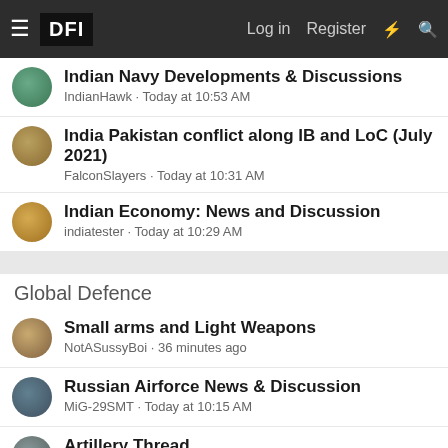DFI | Log in | Register
Indian Navy Developments & Discussions
IndianHawk · Today at 10:53 AM
India Pakistan conflict along IB and LoC (July 2021)
FalconSlayers · Today at 10:31 AM
Indian Economy: News and Discussion
indiatester · Today at 10:29 AM
Global Defence
Small arms and Light Weapons
NotASussyBoi · 36 minutes ago
Russian Airforce News & Discussion
MiG-29SMT · Today at 10:15 AM
Artillery Thread
Dark Sorrow · Today at 9:04 AM
American and European Air to Air Missiles.
johnj · Yesterday at 3:27 PM
F-35 Joint Strike Fighter